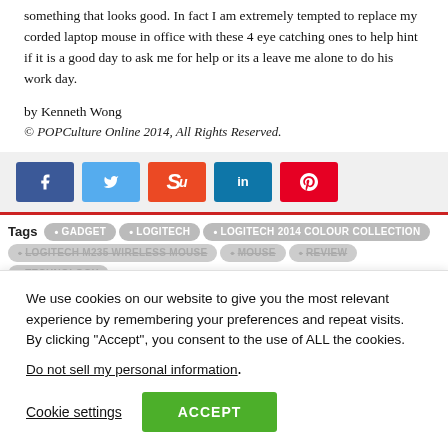something that looks good. In fact I am extremely tempted to replace my corded laptop mouse in office with these 4 eye catching ones to help hint if it is a good day to ask me for help or its a leave me alone to do his work day.
by Kenneth Wong
© POPCulture Online 2014, All Rights Reserved.
[Figure (infographic): Social sharing buttons: Facebook (blue), Twitter (light blue), StumbleUpon (orange-red), LinkedIn (blue), Pinterest (red)]
Tags: GADGET • LOGITECH • LOGITECH 2014 COLOUR COLLECTION • LOGITECH M235 WIRELESS MOUSE • MOUSE • REVIEW • TECHNOLOGY
We use cookies on our website to give you the most relevant experience by remembering your preferences and repeat visits. By clicking "Accept", you consent to the use of ALL the cookies.
Do not sell my personal information.
Cookie settings  ACCEPT